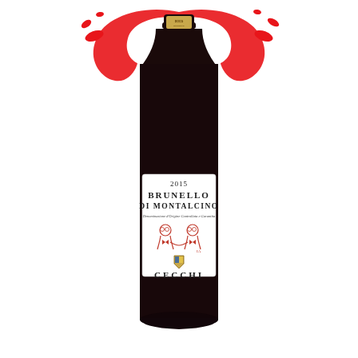[Figure (photo): A bottle of Cecchi Brunello di Montalcino 2015 wine with a red paint splash/swoosh behind the top of the bottle. The bottle is dark glass with a white label showing '2015', 'BRUNELLO DI MONTALCINO', 'Denominazione d'Origine Controllata e Garantita', two cartoon figures, a small crest/shield logo, and 'CECCHI' text.]